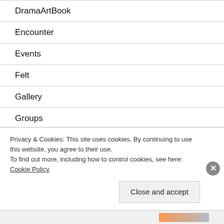DramaArtBook
Encounter
Events
Felt
Gallery
Groups
GTD
Privacy & Cookies: This site uses cookies. By continuing to use this website, you agree to their use.
To find out more, including how to control cookies, see here: Cookie Policy
Close and accept